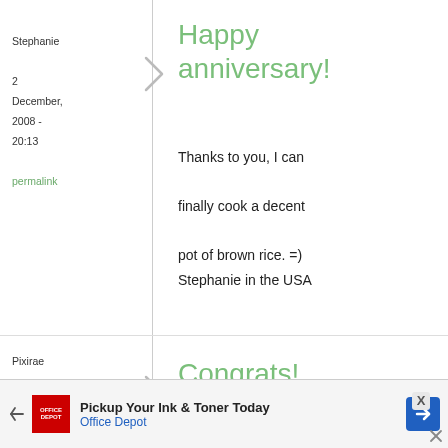Stephanie
2
December,
2008 -
20:13
permalink
Happy anniversary!
Thanks to you, I can finally cook a decent pot of brown rice. =)

Stephanie in the USA
Pixirae
2
December,
2008
Congrats!
[Figure (other): Advertisement banner: Pickup Your Ink & Toner Today - Office Depot]